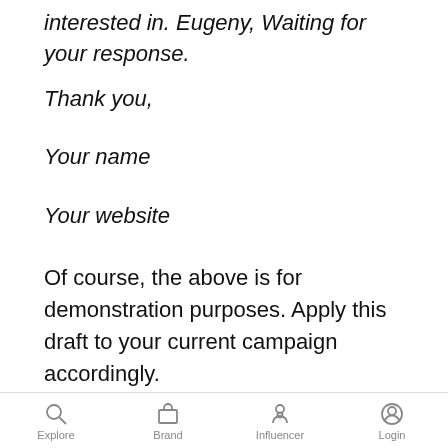interested in. Eugeny, Waiting for your response.
Thank you,
Your name
Your website
Of course, the above is for demonstration purposes. Apply this draft to your current campaign accordingly.
No Reply? It Happens.
As “micro” as an influencer might be, your message
Explore  Brand  Influencer  Login